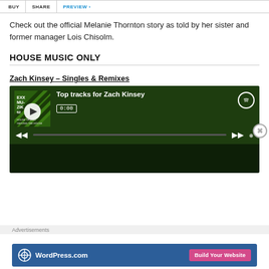BUY | SHARE | PREVIEW ›
Check out the official Melanie Thornton story as told by her sister and former manager Lois Chisolm.
HOUSE MUSIC ONLY
Zach Kinsey – Singles & Remixes
[Figure (screenshot): Spotify embedded player showing 'Top tracks for Zach Kinsey' with album art, play button, time 0:00, progress bar, and Spotify logo on dark green background]
Advertisements
[Figure (screenshot): WordPress.com advertisement banner with logo and 'Build Your Website' button on blue background]